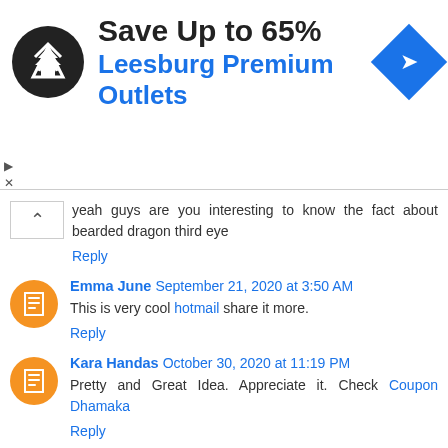[Figure (screenshot): Advertisement banner: Save Up to 65% Leesburg Premium Outlets with logo and navigation icon]
yeah guys are you interesting to know the fact about bearded dragon third eye
Reply
Emma June  September 21, 2020 at 3:50 AM
This is very cool hotmail share it more.
Reply
Kara Handas  October 30, 2020 at 11:19 PM
Pretty and Great Idea. Appreciate it. Check Coupon Dhamaka
Reply